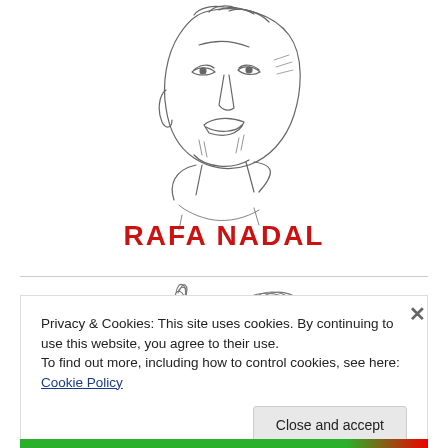[Figure (illustration): Pencil sketch illustration of a person's face and upper body, appearing to be a portrait sketch of Rafa Nadal]
RAFA NADAL
[Figure (illustration): Pencil sketch illustration of a person with one finger raised, shown with face in profile]
Privacy & Cookies: This site uses cookies. By continuing to use this website, you agree to their use.
To find out more, including how to control cookies, see here: Cookie Policy
Close and accept